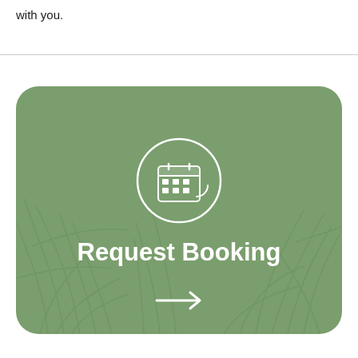with you.
[Figure (illustration): Green rounded rectangle card with botanical grass/leaf line art background, a circular calendar booking icon at top center, 'Request Booking' text in white, and a right-pointing arrow at bottom center.]